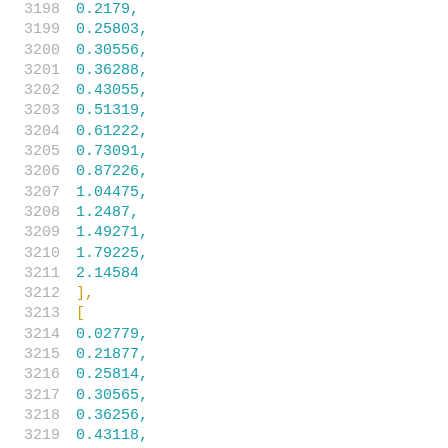3198    0.2179,
3199    0.25803,
3200    0.30556,
3201    0.36288,
3202    0.43055,
3203    0.51319,
3204    0.61222,
3205    0.73091,
3206    0.87226,
3207    1.04475,
3208    1.2487,
3209    1.49271,
3210    1.79225,
3211    2.14584
3212    ],
3213    [
3214    0.02779,
3215    0.21877,
3216    0.25814,
3217    0.30565,
3218    0.36256,
3219    0.43118,